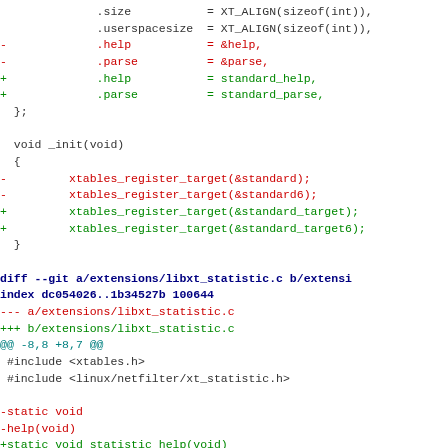Code diff showing changes to xtables extension files, including libxt_statistic.c